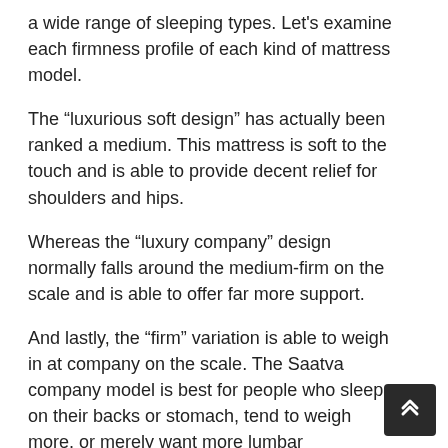a wide range of sleeping types. Let's examine each firmness profile of each kind of mattress model.
The “luxurious soft design” has actually been ranked a medium. This mattress is soft to the touch and is able to provide decent relief for shoulders and hips.
Whereas the “luxury company” design normally falls around the medium-firm on the scale and is able to offer far more support.
And lastly, the “firm” variation is able to weigh in at company on the scale. The Saatva company model is best for people who sleep on their backs or stomach, tend to weigh more, or merely want more lumbar assistance from their mattress.